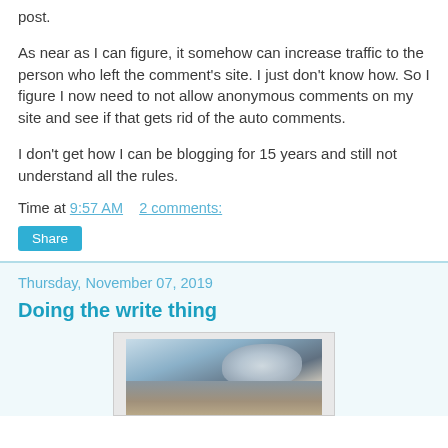post.
As near as I can figure, it somehow can increase traffic to the person who left the comment's site. I just don't know how. So I figure I now need to not allow anonymous comments on my site and see if that gets rid of the auto comments.
I don't get how I can be blogging for 15 years and still not understand all the rules.
Time at 9:57 AM   2 comments:
Share
Thursday, November 07, 2019
Doing the write thing
[Figure (photo): A stormy sky scene with clouds and landscape below, appearing to show dramatic weather]